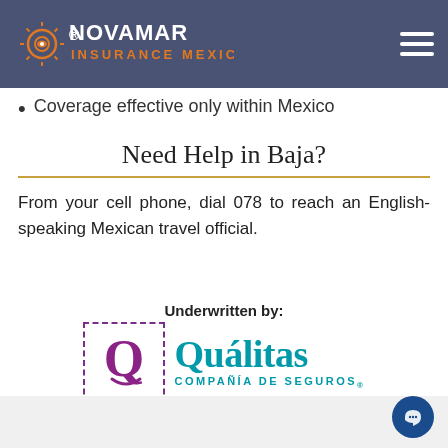NOVAMAR INSURANCE MEXICO
Coverage effective only within Mexico
Need Help in Baja?
From your cell phone, dial 078 to reach an English-speaking Mexican travel official.
Underwritten by:
[Figure (logo): Quálitas Compañía de Seguros logo with stylized Q in dashed purple border box and teal text]